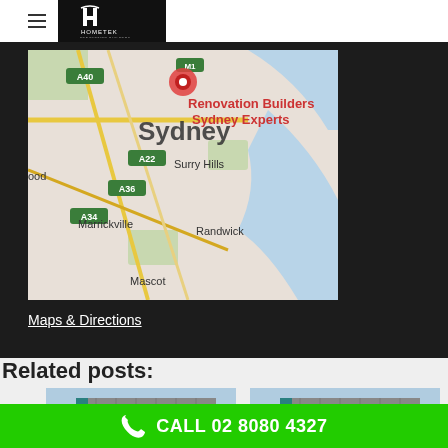Hometek — navigation and logo header
[Figure (map): Google Maps view of Sydney showing A40, M1, A22, A34, A36 roads, suburbs including Surry Hills, Marrickville, Randwick, Mascot, with a location pin marker. Overlay text: 'Renovation Builders Sydney Experts']
Maps & Directions
Related posts:
[Figure (photo): Thumbnail image of a building with blue and grey facade, with star rating overlay]
[Figure (photo): Thumbnail image of a building with blue and grey facade, with star rating overlay]
CALL 02 8080 4327